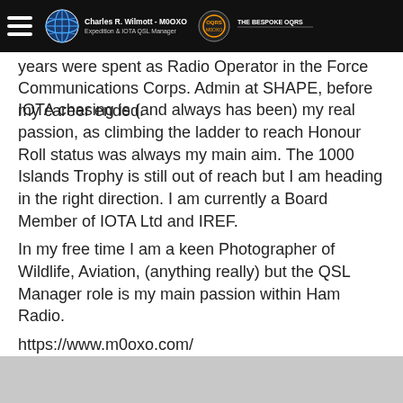Charles R. Wilmott - M0OXO | Expedition & IOTA QSL Manager | THE BESPOKE OQRS
years were spent as Radio Operator in the Force Communications Corps. Admin at SHAPE, before my career ended.
IOTA chasing is (and always has been) my real passion, as climbing the ladder to reach Honour Roll status was always my main aim. The 1000 Islands Trophy is still out of reach but I am heading in the right direction. I am currently a Board Member of IOTA Ltd and IREF.
In my free time I am a keen Photographer of Wildlife, Aviation, (anything really) but the QSL Manager role is my main passion within Ham Radio.
https://www.m0oxo.com/
https://www.m0oxo.com/oqrs/